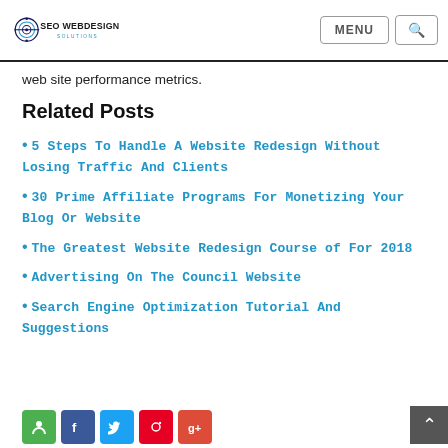SEO WEBDESIGN SOLUTIONS | MENU | Search
web site performance metrics.
Related Posts
5 Steps To Handle A Website Redesign Without Losing Traffic And Clients
30 Prime Affiliate Programs For Monetizing Your Blog Or Website
The Greatest Website Redesign Course of For 2018
Advertising On The Council Website
Search Engine Optimization Tutorial And Suggestions